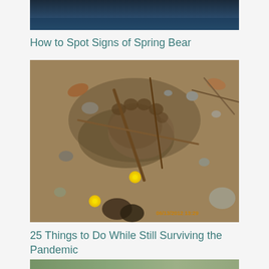[Figure (photo): Top partial image showing dark blue water or sky scene, cropped at top of page]
How to Spot Signs of Spring Bear
[Figure (photo): Photo of a bear paw print in muddy sandy soil with small yellow dandelion flowers, sticks, pebbles, and leaf debris. Timestamp 06/13/2012 13:29 visible in orange in lower right corner.]
25 Things to Do While Still Surviving the Pandemic
[Figure (photo): Partial image at bottom of page, appears to show an outdoor nature scene]